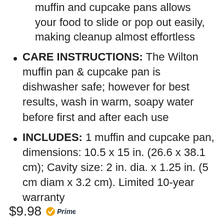muffin and cupcake pans allows your food to slide or pop out easily, making cleanup almost effortless
CARE INSTRUCTIONS: The Wilton muffin pan & cupcake pan is dishwasher safe; however for best results, wash in warm, soapy water before first and after each use
INCLUDES: 1 muffin and cupcake pan, dimensions: 10.5 x 15 in. (26.6 x 38.1 cm); Cavity size: 2 in. dia. x 1.25 in. (5 cm diam x 3.2 cm). Limited 10-year warranty
$9.98 Prime